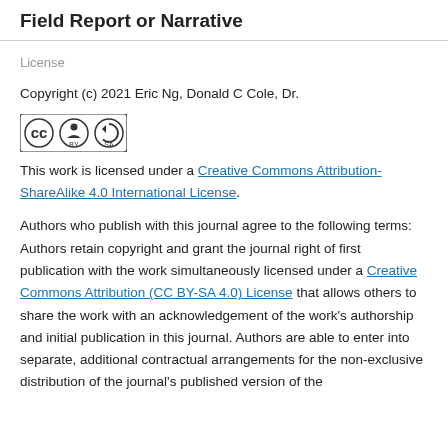Field Report or Narrative
License
Copyright (c) 2021 Eric Ng, Donald C Cole, Dr.
[Figure (logo): Creative Commons BY-SA license badge]
This work is licensed under a Creative Commons Attribution-ShareAlike 4.0 International License.
Authors who publish with this journal agree to the following terms: Authors retain copyright and grant the journal right of first publication with the work simultaneously licensed under a Creative Commons Attribution (CC BY-SA 4.0) License that allows others to share the work with an acknowledgement of the work's authorship and initial publication in this journal. Authors are able to enter into separate, additional contractual arrangements for the non-exclusive distribution of the journal's published version of the